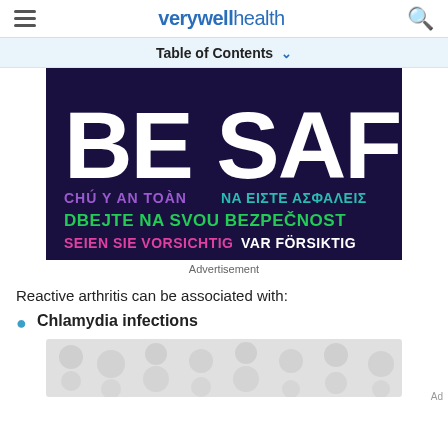verywell health
Table of Contents
[Figure (illustration): Dark navy blue advertisement banner with multilingual text reading BE SAFE in large white letters, with translations in various languages and colors: CHU Y AN TOAN (purple), NA EIΣTE AΣΦAΛEIΣ (teal), DBEJTE NA SVOU BEZPECNOST (green), SEIEN SIE VORSICHTIG (pink), VAR FORSIKTIG (white)]
Advertisement
Reactive arthritis can be associated with:
Chlamydia infections
[Figure (illustration): Partially visible advertisement placeholder with grey circular pattern on light grey background, cut off at bottom of page]